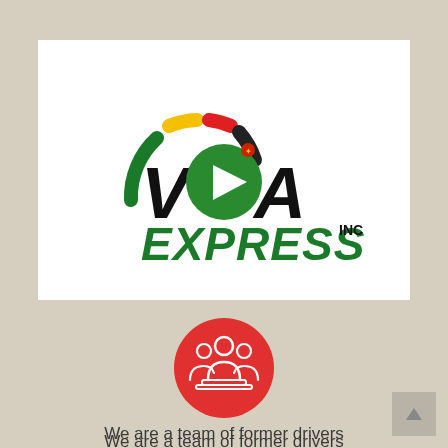[Figure (logo): Voya Express Inc logo with speedometer arc in green, yellow, and red colors, green circle with play button as the 'o' in Voya, dark green bold text reading VOYA EXPRESS INC]
[Figure (illustration): Red circle with white people/team icon inside]
We are a team of former drivers